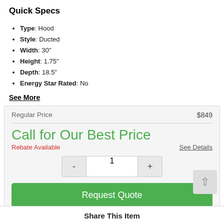Quick Specs
Type: Hood
Style: Ducted
Width: 30"
Height: 1.75"
Depth: 18.5"
Energy Star Rated: No
See More
Regular Price $849
Call for Our Best Price
Rebate Available
See Details
Request Quote
Share This Item